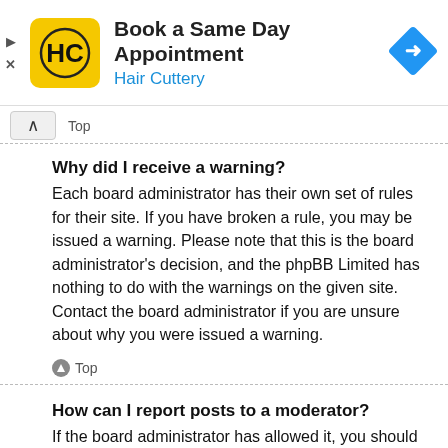[Figure (other): Hair Cuttery advertisement banner: 'Book a Same Day Appointment' with Hair Cuttery logo and navigation arrow icon]
Top
Why did I receive a warning?
Each board administrator has their own set of rules for their site. If you have broken a rule, you may be issued a warning. Please note that this is the board administrator's decision, and the phpBB Limited has nothing to do with the warnings on the given site. Contact the board administrator if you are unsure about why you were issued a warning.
Top
How can I report posts to a moderator?
If the board administrator has allowed it, you should see a button for reporting posts next to the post you wish to report. Clicking this will walk you through